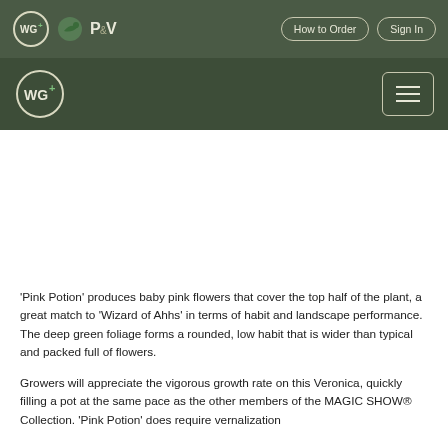WG+ P&V | How to Order | Sign In
[Figure (logo): WG+ company logo and P&V logo in top navigation bar]
[Figure (other): White empty image area below second navigation bar]
'Pink Potion' produces baby pink flowers that cover the top half of the plant, a great match to 'Wizard of Ahhs' in terms of habit and landscape performance. The deep green foliage forms a rounded, low habit that is wider than typical and packed full of flowers.
Growers will appreciate the vigorous growth rate on this Veronica, quickly filling a pot at the same pace as the other members of the MAGIC SHOW® Collection. 'Pink Potion' does require vernalization